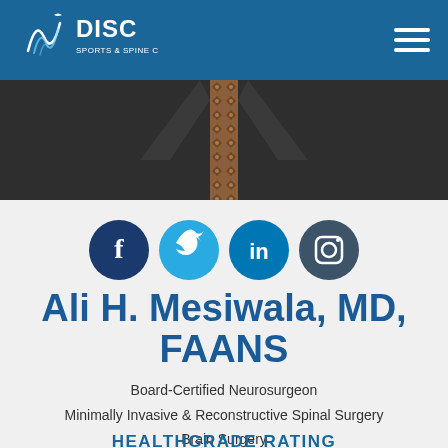[Figure (logo): DISC Sports & Spine Center logo in white on blue header bar]
[Figure (photo): Partial photo of a person in a dark suit with a patterned tie, cropped to show torso/neck area]
[Figure (infographic): Four social media icons: Facebook (dark blue), Twitter (light blue), LinkedIn (medium blue), Instagram (dark gray)]
Ali H. Mesiwala, MD, FAANS
Board-Certified Neurosurgeon
Minimally Invasive & Reconstructive Spinal Surgery
Brain Surgery
HEALTHGRADE RATING